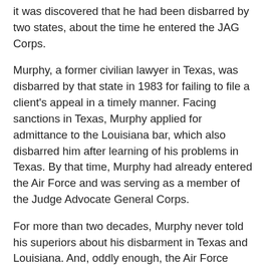it was discovered that he had been disbarred by two states, about the time he entered the JAG Corps.
Murphy, a former civilian lawyer in Texas, was disbarred by that state in 1983 for failing to file a client's appeal in a timely manner. Facing sanctions in Texas, Murphy applied for admittance to the Louisiana bar, which also disbarred him after learning of his problems in Texas. By that time, Murphy had already entered the Air Force and was serving as a member of the Judge Advocate General Corps.
For more than two decades, Murphy never told his superiors about his disbarment in Texas and Louisiana. And, oddly enough, the Air Force never found out, despite the fact that the disciplinary actions were posted in on-line databases maintained by the bar associations in both states.
A retired senior Air Force JAG, with detailed knowledge of the Murphy case, tells In From the Cold that news of the Colonel's past problems literally "came in over the transom." An unknown tipster apparently found Murphy's disbarment listing in the Texas Bar Association database, and sent a